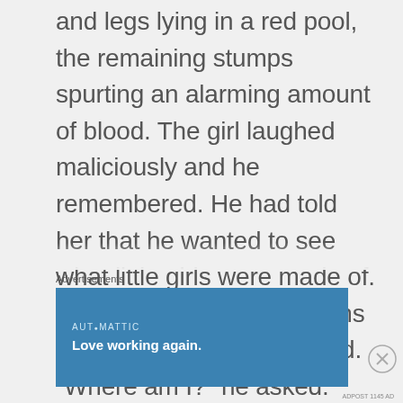and legs lying in a red pool, the remaining stumps spurting an alarming amount of blood. The girl laughed maliciously and he remembered. He had told her that he wanted to see what little girls were made of. No one ever found her arms and legs, and he never told. “Where am I?” he asked.

“The Needleman is coming. No one will weep for you.” She smiled with a
Advertisements
[Figure (other): Automattic advertisement banner with blue background. Text reads 'AUTOMATTIC' and 'Love working again.']